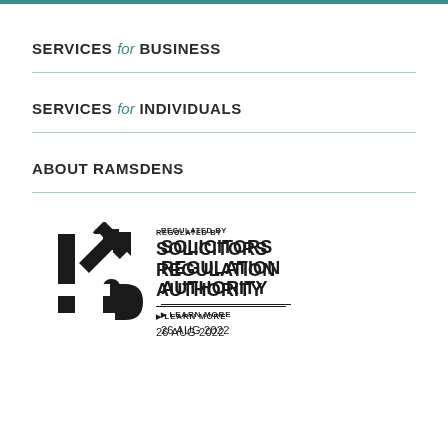SERVICES for BUSINESS
SERVICES for INDIVIDUALS
ABOUT RAMSDENS
[Figure (logo): Solicitors Regulation Authority logo with arrow icon, text reading REGULATED BY SOLICITORS REGULATION AUTHORITY, LEARN MORE, 26 AUG 2022]